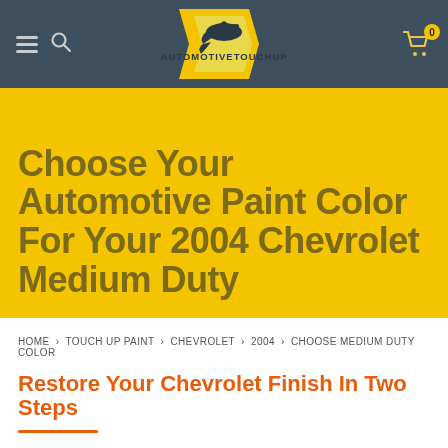AutomotiveTouchup - navigation header with logo, hamburger menu, search, and cart
Choose Your Automotive Paint Color For Your 2004 Chevrolet Medium Duty
HOME > TOUCH UP PAINT > CHEVROLET > 2004 > CHOOSE MEDIUM DUTY COLOR
Restore Your Chevrolet Finish In Two Steps